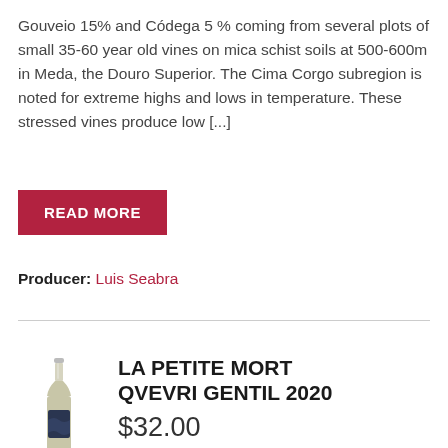Gouveio 15% and Códega 5 % coming from several plots of small 35-60 year old vines on mica schist soils at 500-600m in Meda, the Douro Superior. The Cima Corgo subregion is noted for extreme highs and lows in temperature. These stressed vines produce low [...]
READ MORE
Producer: Luis Seabra
[Figure (photo): Wine bottle photo - La Petite Mort Qvevri Gentil 2020, white wine in a tall bottle with a dark label]
LA PETITE MORT QVEVRI GENTIL 2020
$32.00
Despite the floral nature of these two Alsatian varieties, they complement